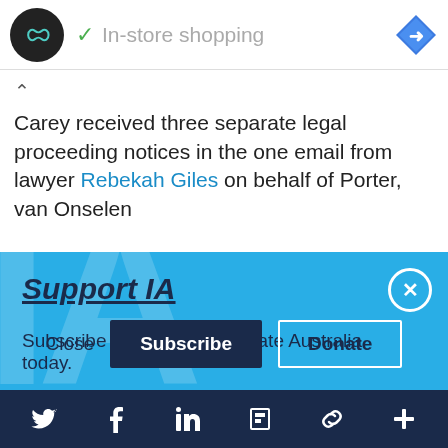[Figure (screenshot): Ad bar with circular logo showing infinity symbol, 'In-store shopping' text with green checkmark, and blue diamond navigation icon]
Carey received three separate legal proceeding notices in the one email from lawyer Rebekah Giles on behalf of Porter, van Onselen
Support IA
Subscribe to IA and investigate Australia today.
Close   Subscribe   Donate
[Figure (screenshot): Bottom navigation bar with Twitter, Facebook, LinkedIn, Flipboard, chain link, and plus icons in white on dark navy background]